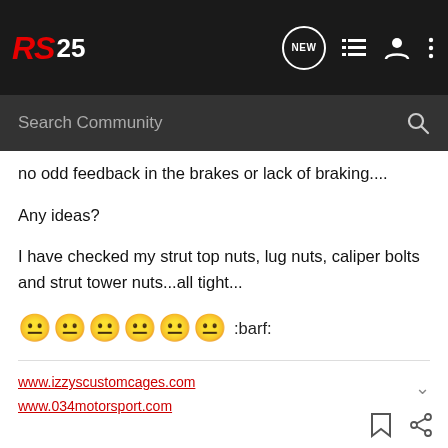RS 25 - Community forum navigation bar with Search Community
no odd feedback in the brakes or lack of braking....
Any ideas?
I have checked my strut top nuts, lug nuts, caliper bolts and strut tower nuts...all tight...
😐 😐 😐 😐 😐 😐 :barf:
www.izzyscustomcages.com
www.034motorsport.com